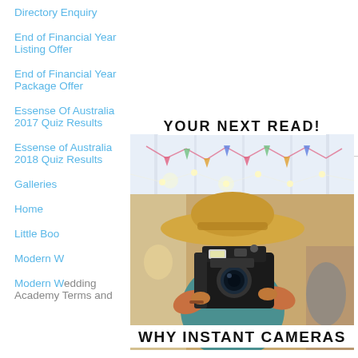Directory Enquiry
End of Financial Year Listing Offer
End of Financial Year Package Offer
Essense Of Australia 2017 Quiz Results
Essense of Australia 2018 Quiz Results
Galleries
Home
Little Boo
Modern W
Modern Wedding Academy Terms and Conditions
[Figure (photo): Person holding a Polaroid instant camera, wearing a wide-brim straw hat, in a decorated indoor venue with string lights and colorful bunting]
YOUR NEXT READ!
WHY INSTANT CAMERAS